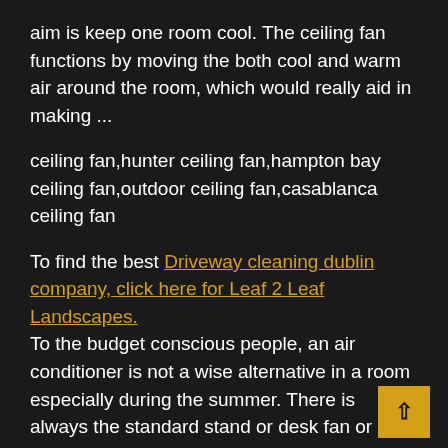aim is keep one room cool. The ceiling fan functions by moving the both cool and warm air around the room, which would really aid in making ...
ceiling fan,hunter ceiling fan,hampton bay ceiling fan,outdoor ceiling fan,casablanca ceiling fan
To find the best Driveway cleaning dublin company, click here for Leaf 2 Leaf Landscapes. To the budget conscious people, an air conditioner is not a wise alternative in a room especially during the summer. There is always the standard stand or desk fan or using fan or just plain opening the window.
A wise addition to a room, which is both, cost efficient and stylish is a ceiling fan. This is preferred especially when your aim is keep one room cool. The ceiling fan functions by moving the both cool and warm air around the room, which would really aid in making the room comfortable.
Ceiling fans has gained popularity as a fan of choice in h... They are popular because they can be both stylish and v...